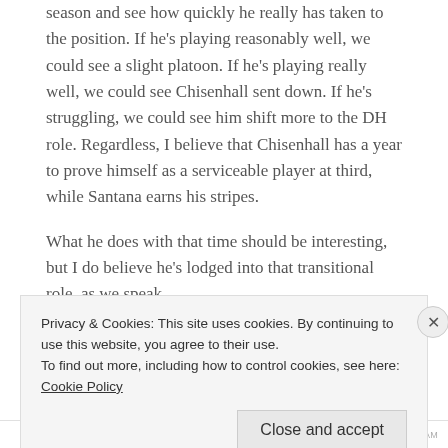season and see how quickly he really has taken to the position. If he's playing reasonably well, we could see a slight platoon. If he's playing really well, we could see Chisenhall sent down. If he's struggling, we could see him shift more to the DH role. Regardless, I believe that Chisenhall has a year to prove himself as a serviceable player at third, while Santana earns his stripes.
What he does with that time should be interesting, but I do believe he's lodged into that transitional role, as we speak.
What's going to happen with Michel Bourn this year? I
Privacy & Cookies: This site uses cookies. By continuing to use this website, you agree to their use.
To find out more, including how to control cookies, see here: Cookie Policy
Close and accept